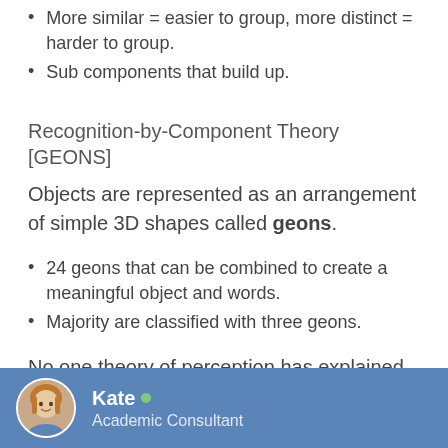More similar = easier to group, more distinct = harder to group.
Sub components that build up.
Recognition-by-Component Theory [GEONS]
Objects are represented as an arrangement of simple 3D shapes called geons.
24 geons that can be combined to create a meaningful object and words.
Majority are classified with three geons.
No one theory of perception has explained the ability to perceive so much complexity so quickly.
Kate • Academic Consultant